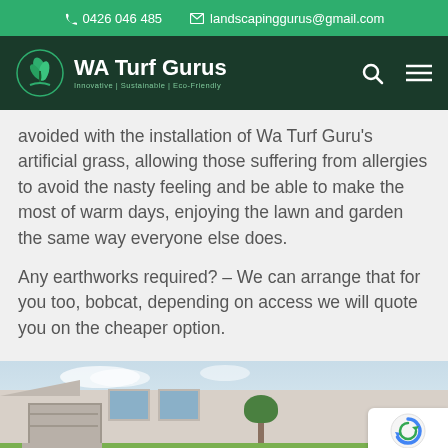0426 046 485   landscapinggurus@gmail.com
[Figure (logo): WA Turf Gurus logo with plant icon and tagline Innovative | Sustainable | Eco-Friendly]
avoided with the installation of Wa Turf Guru's artificial grass, allowing those suffering from allergies to avoid the nasty feeling and be able to make the most of warm days, enjoying the lawn and garden the same way everyone else does.
Any earthworks required? – We can arrange that for you too, bobcat, depending on access we will quote you on the cheaper option.
[Figure (photo): Photo of a modern single-storey residential house with a driveway, garage, and green lawn in front, under a partly cloudy sky.]